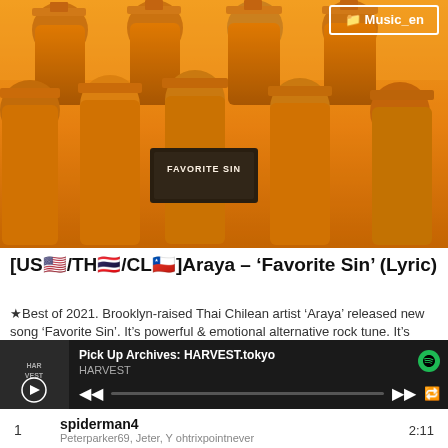[Figure (photo): Children in orange graduation caps and gowns, one holding a black sign reading FAVORITE SIN. Music_en folder badge in top right corner.]
[US🇺🇸/TH🇹🇭/CL🇨🇱]Araya – 'Favorite Sin' (Lyric)
★Best of 2021. Brooklyn-raised Thai Chilean artist 'Araya' released new song 'Favorite Sin'. It's powerful & emotional alternative rock tune. It's
[Figure (screenshot): Spotify player bar showing: Pick Up Archives: HARVEST.tokyo by HARVEST, with playback controls and progress bar.]
| # | Track | Artists | Duration |
| --- | --- | --- | --- |
| 1 | spiderman4 | Peterparker69, Jeter, Y ohtrixpointnever | 2:11 |
| 2 | Flight to Mumbai |  | 2:25 |